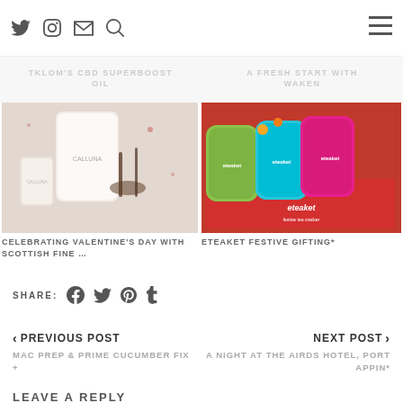Twitter, Instagram, Mail, Search icons and hamburger menu
TKLOM'S CBD SUPERBOOST OIL
A FRESH START WITH WAKEN
[Figure (photo): Flat lay of Calluna skincare products with botanical elements on white background]
[Figure (photo): Eteaket tea tins in colorful packaging arranged in a festive red gift box with decorative shredded paper]
CELEBRATING VALENTINE'S DAY WITH SCOTTISH FINE …
ETEAKET FESTIVE GIFTING*
SHARE:
< PREVIOUS POST
MAC PREP & PRIME CUCUMBER FIX +
NEXT POST >
A NIGHT AT THE AIRDS HOTEL, PORT APPIN*
LEAVE A REPLY